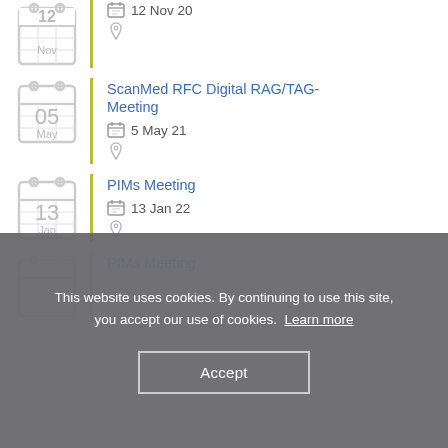12 Nov 20 (calendar icon, location icon)
ScanMed RFC Digital RAG/TAG-Meeting | 5 May 21
PIMs Meeting | 13 Jan 22
PIMs Meeting (partially visible)
This website uses cookies. By continuing to use this site, you accept our use of cookies. Learn more
Accept